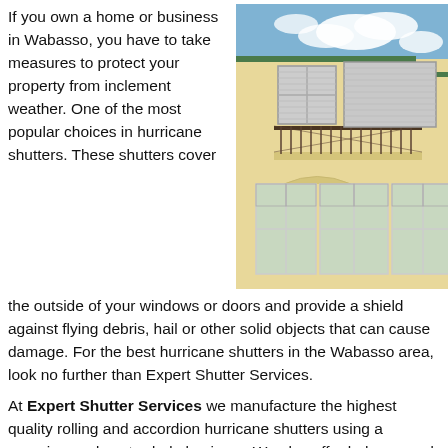If you own a home or business in Wabasso, you have to take measures to protect your property from inclement weather. One of the most popular choices in hurricane shutters. These shutters cover the outside of your windows or doors and provide a shield against flying debris, hail or other solid objects that can cause damage. For the best hurricane shutters in the Wabasso area, look no further than Expert Shutter Services.
[Figure (photo): Photo of a yellow two-story building with white-framed windows, a balcony with a black metal railing, and hurricane shutters visible on the upper windows, against a blue sky with clouds.]
At Expert Shutter Services we manufacture the highest quality rolling and accordion hurricane shutters using a superior grade extruded aluminum. We also offer bahama and colonial shutters for a mix of aesthetics and protection. Our installation technicians are professionally trained to quickly and accurately install your hurricane